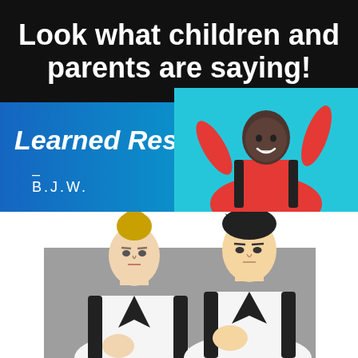Look what children and parents are saying!
Learned Respect
– B.J.W.
[Figure (photo): Child in red taekwondo uniform doing a martial arts pose with arms raised, smiling, against teal background]
[Figure (photo): Two adult martial artists in white uniforms with black collars in fighting stances: a woman with blonde hair in a bun on the left, and a man with dark spiky hair on the right, against gray background]